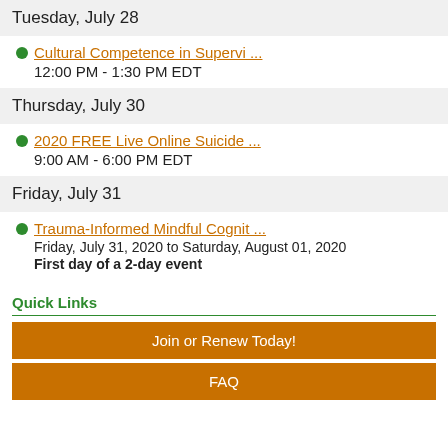Tuesday, July 28
Cultural Competence in Supervi ...
12:00 PM - 1:30 PM EDT
Thursday, July 30
2020 FREE Live Online Suicide ...
9:00 AM - 6:00 PM EDT
Friday, July 31
Trauma-Informed Mindful Cognit ...
Friday, July 31, 2020 to Saturday, August 01, 2020
First day of a 2-day event
Quick Links
Join or Renew Today!
FAQ